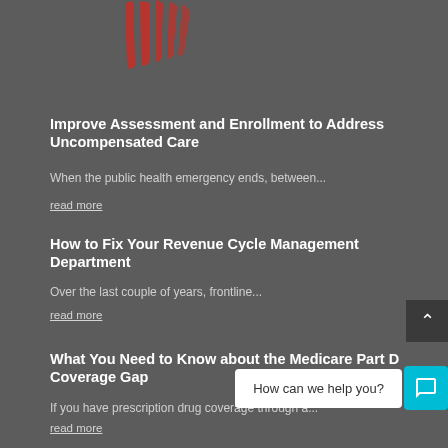[Figure (logo): Red striped logo / brand mark at top of page]
Improve Assessment and Enrollment to Address Uncompensated Care
When the public health emergency ends, between...
read more
How to Fix Your Revenue Cycle Management Department
Over the last couple of years, frontline...
read more
What You Need to Know about the Medicare Part D Coverage Gap
If you have prescription drug coverage through a...
read more
A Two-Pronged Approach to Tackle Your Uncompensated Care Costs
How can we help you?